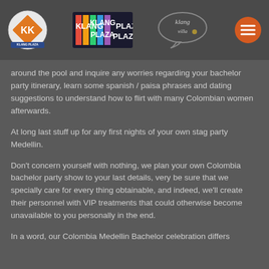Klang Plaza logos and navigation header
around the pool and inquire any worries regarding your bachelor party itinerary, learn some spanish / paisa phrases and dating suggestions to understand how to flirt with many Colombian women afterwards.
At long last stuff up for any first nights of your own stag party Medellin.
Don't concern yourself with nothing, we plan your own Colombia bachelor party show to your last details, very be sure that we specially care for every thing obtainable, and indeed, we'll create their personnel with VIP treatments that could otherwise become unavailable to you personally in the end.
In a word, our Colombia Medellin Bachelor celebration differs from the other alternatives already in the market.